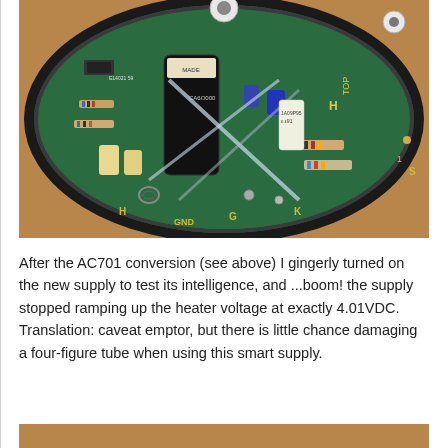[Figure (photo): Top-down view of a circular green PCB (printed circuit board) inside a round enclosure, showing various electronic components including resistors, capacitors, and labeled terminals (H, GND, G, K, TOP). The board appears to be from an AC701 tube adapter or converter.]
After the AC701 conversion (see above) I gingerly turned on the new supply to test its intelligence, and ...boom! the supply stopped ramping up the heater voltage at exactly 4.01VDC. Translation: caveat emptor, but there is little chance damaging a four-figure tube when using this smart supply.
[Figure (photo): Close-up photo of a circular green PCB showing electronic components including white ceramic/socket components and capacitors, partially visible at the bottom of the page.]